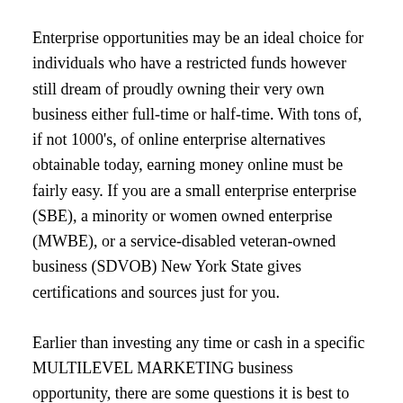Enterprise opportunities may be an ideal choice for individuals who have a restricted funds however still dream of proudly owning their very own business either full-time or half-time. With tons of, if not 1000's, of online enterprise alternatives obtainable today, earning money online must be fairly easy. If you are a small enterprise enterprise (SBE), a minority or women owned enterprise (MWBE), or a service-disabled veteran-owned business (SDVOB) New York State gives certifications and sources just for you.
Earlier than investing any time or cash in a specific MULTILEVEL MARKETING business opportunity, there are some questions it is best to contemplate first. Low Value Licence Opportunities provide the same aspect of stability as offered with a franchise, however usually requiring a lower preliminary financial investment, as little as Â£one hundred.
If you are interested or an area of expertise of sustain the